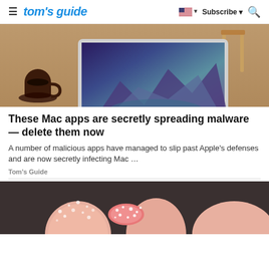≡  tom's guide   🇺🇸 ▼  Subscribe ▼  🔍
[Figure (photo): MacBook laptop open on a wooden table with a coffee cup and saucer to the left, chair visible in background. The laptop screen shows a colorful macOS desktop wallpaper with mountains and water.]
These Mac apps are secretly spreading malware — delete them now
A number of malicious apps have managed to slip past Apple's defenses and are now secretly infecting Mac …
Tom's Guide
[Figure (photo): Close-up photo of fingers holding sugar-coated gummy candy pieces, dark background.]